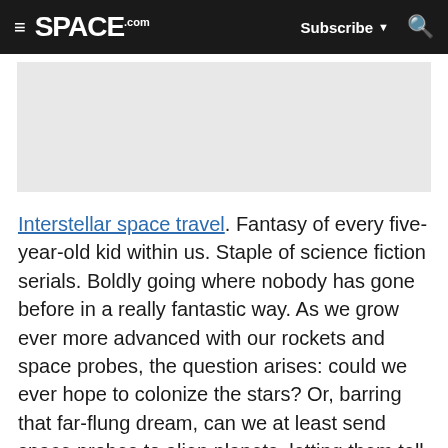≡ SPACE.com  Subscribe ▼  🔍
[Figure (other): Advertisement placeholder gray rectangle]
Interstellar space travel. Fantasy of every five-year-old kid within us. Staple of science fiction serials. Boldly going where nobody has gone before in a really fantastic way. As we grow ever more advanced with our rockets and space probes, the question arises: could we ever hope to colonize the stars? Or, barring that far-flung dream, can we at least send space probes to alien planets, letting them tell us what they see?
The truth is that interstellar travel and exploration is